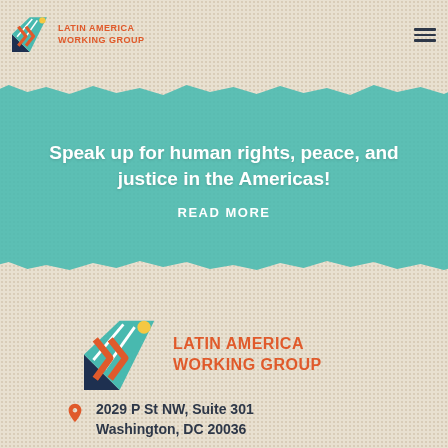[Figure (logo): Latin America Working Group logo - small header version with geometric icon and orange text]
[Figure (infographic): Teal torn-paper banner with white text: 'Speak up for human rights, peace, and justice in the Americas!' and 'READ MORE' link]
Speak up for human rights, peace, and justice in the Americas!
READ MORE
[Figure (logo): Latin America Working Group logo - large footer version with bigger geometric icon and orange text]
2029 P St NW, Suite 301
Washington, DC 20036